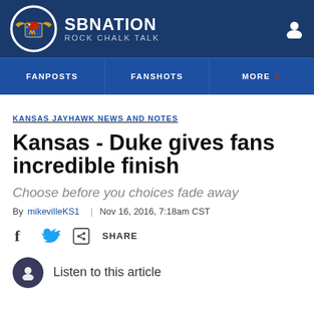SB NATION | ROCK CHALK TALK
FANPOSTS | FANSHOTS | MORE
KANSAS JAYHAWK NEWS AND NOTES
Kansas - Duke gives fans incredible finish
Choose before you choices fade away
By mikevilleKS1 | Nov 16, 2016, 7:18am CST
SHARE
Listen to this article